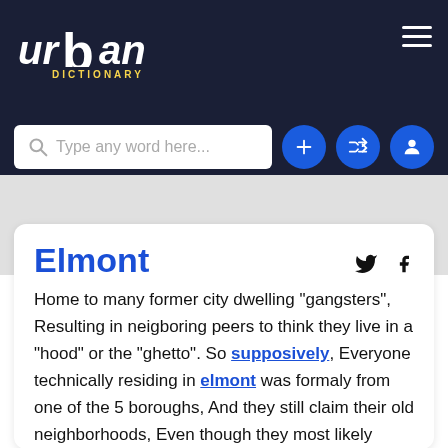[Figure (logo): Urban Dictionary logo — stylized text 'urban' with large 'b' and 'DICTIONARY' subtitle in yellow]
Type any word here...
Elmont
Home to many former city dwelling "gangsters", Resulting in neigboring peers to think they live in a "hood" or the "ghetto". So supposively, Everyone technically residing in elmont was formaly from one of the 5 boroughs, And they still claim their old neighborhoods, Even though they most likely